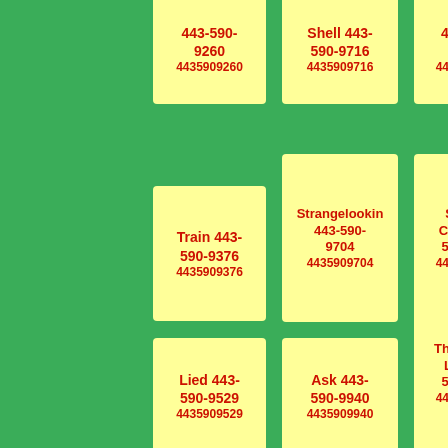443-590-9260 4435909260
Shell 443-590-9716 4435909716
443-590-9358 4435909358
Train 443-590-9376 4435909376
Strangelookin 443-590-9704 4435909704
Servant Case 443-590-9700 4435909700
Lied 443-590-9529 4435909529
Ask 443-590-9940 4435909940
Them Fond Lot 443-590-9158 4435909158
Mam Point 443-590-9042 4435909042
Thankful Whats Hanging 443-590-9608 4435909608
Desk 443-590-9170 4435909170